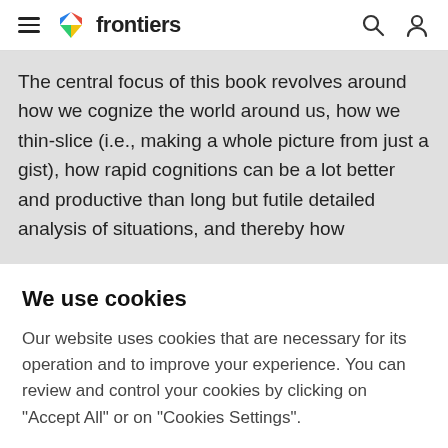frontiers
The central focus of this book revolves around how we cognize the world around us, how we thin-slice (i.e., making a whole picture from just a gist), how rapid cognitions can be a lot better and productive than long but futile detailed analysis of situations, and thereby how
We use cookies
Our website uses cookies that are necessary for its operation and to improve your experience. You can review and control your cookies by clicking on "Accept All" or on "Cookies Settings".
Accept Cookies
Cookies Settings